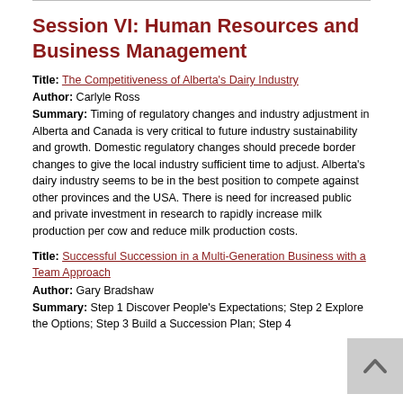Session VI: Human Resources and Business Management
Title: The Competitiveness of Alberta's Dairy Industry
Author: Carlyle Ross
Summary: Timing of regulatory changes and industry adjustment in Alberta and Canada is very critical to future industry sustainability and growth. Domestic regulatory changes should precede border changes to give the local industry sufficient time to adjust. Alberta's dairy industry seems to be in the best position to compete against other provinces and the USA. There is need for increased public and private investment in research to rapidly increase milk production per cow and reduce milk production costs.
Title: Successful Succession in a Multi-Generation Business with a Team Approach
Author: Gary Bradshaw
Summary: Step 1 Discover People's Expectations; Step 2 Explore the Options; Step 3 Build a Succession Plan; Step 4...